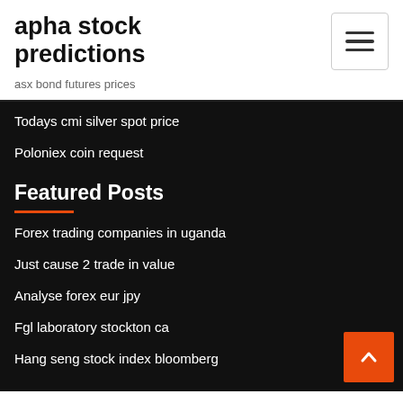apha stock predictions
asx bond futures prices
Todays cmi silver spot price
Poloniex coin request
Featured Posts
Forex trading companies in uganda
Just cause 2 trade in value
Analyse forex eur jpy
Fgl laboratory stockton ca
Hang seng stock index bloomberg